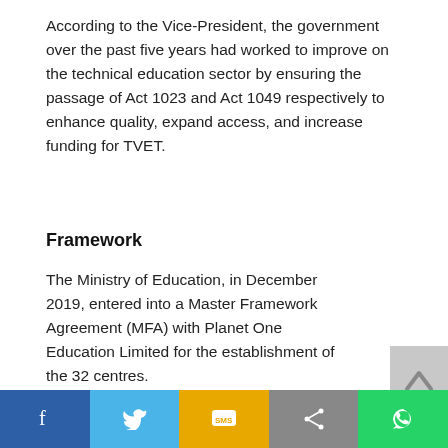According to the Vice-President, the government over the past five years had worked to improve on the technical education sector by ensuring the passage of Act 1023 and Act 1049 respectively to enhance quality, expand access, and increase funding for TVET.
Framework
The Ministry of Education, in December 2019, entered into a Master Framework Agreement (MFA) with Planet One Education Limited for the establishment of the 32 centres.
Planet One is a globally established organisation with expertise in the education sector.
[Figure (photo): Aerial or model view of a building complex with yellow walls and red roofs, surrounded by trees, resembling a school or vocational training centre.]
Social share bar: Facebook, Twitter, SMS, Share, WhatsApp